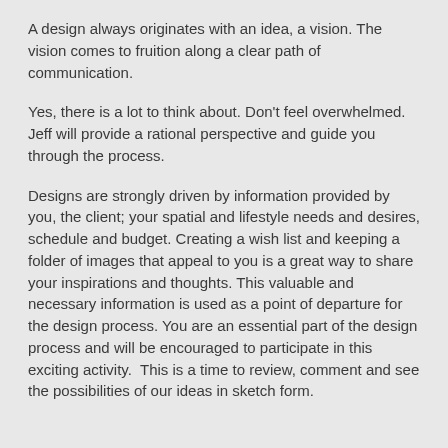A design always originates with an idea, a vision.  The vision comes to fruition along a clear path of communication.
Yes, there is a lot to think about.  Don't feel overwhelmed.  Jeff will provide a rational perspective and guide you through the process.
Designs are strongly driven by information provided by you, the client; your spatial and lifestyle needs and desires, schedule and budget.  Creating a wish list and keeping a folder of images that appeal to you is a great way to share your inspirations and thoughts.  This valuable and necessary information is used as a point of departure for the design process.  You are an essential part of the design process and will be encouraged to participate in this exciting activity.  This is a time to review, comment and see the possibilities of our ideas in sketch form.